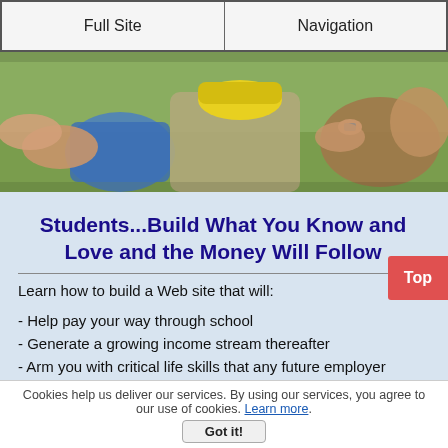Full Site | Navigation
[Figure (photo): Close-up photo of people outdoors, hands interacting with a blue bucket and a dog/animal, one person wearing a yellow cap and khaki clothing]
Students...Build What You Know and Love and the Money Will Follow
Learn how to build a Web site that will:
- Help pay your way through school
- Generate a growing income stream thereafter
- Arm you with critical life skills that any future employer would value
Cookies help us deliver our services. By using our services, you agree to our use of cookies. Learn more. Got it!